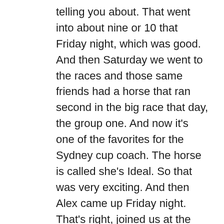telling you about. That went into about nine or 10 that Friday night, which was good. And then Saturday we went to the races and those same friends had a horse that ran second in the big race that day, the group one. And now it's one of the favorites for the Sydney cup coach. The horse is called she's Ideal. So that was very exciting. And then Alex came up Friday night. That's right, joined us at the barbecue and then Saturday I went and shopped with Jenny and caught up with some of her friends. So, we've had dinner on Saturday night and a good chat. And then Sunday spent the day with her and we had people over for lunch. We were at the sweet tarts again for lunch, which was lovely. Had lunch there and A Few Bloody Mary's. And then I spent the afternoon after that playing pool with Alex and Ruddy which was good fun. And then she went back early Monday morning and Ruddy